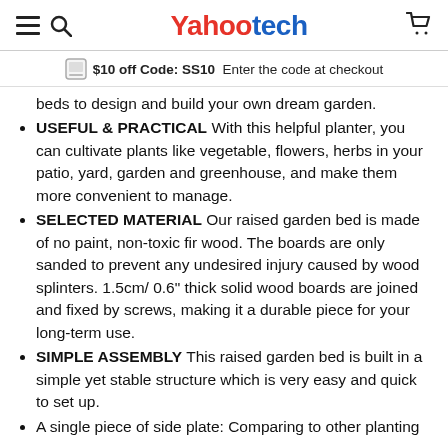Yaheetech
$10 off Code: SS10  Enter the code at checkout
beds to design and build your own dream garden.
USEFUL & PRACTICAL With this helpful planter, you can cultivate plants like vegetable, flowers, herbs in your patio, yard, garden and greenhouse, and make them more convenient to manage.
SELECTED MATERIAL Our raised garden bed is made of no paint, non-toxic fir wood. The boards are only sanded to prevent any undesired injury caused by wood splinters. 1.5cm/ 0.6" thick solid wood boards are joined and fixed by screws, making it a durable piece for your long-term use.
SIMPLE ASSEMBLY This raised garden bed is built in a simple yet stable structure which is very easy and quick to set up.
A single piece of side plate: Comparing to other planting